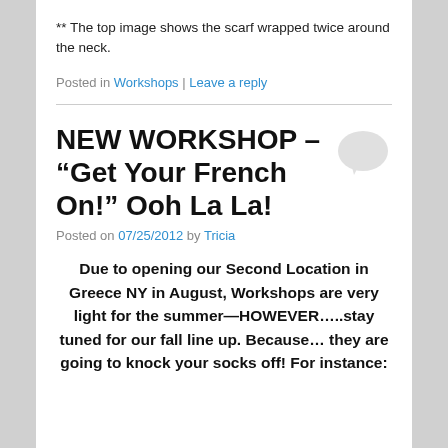** The top image shows the scarf wrapped twice around the neck.
Posted in Workshops | Leave a reply
NEW WORKSHOP – “Get Your French On!” Ooh La La!
Posted on 07/25/2012 by Tricia
Due to opening our Second Location in Greece NY in August, Workshops are very light for the summer—HOWEVER…..stay tuned for our fall line up. Because… they are going to knock your socks off! For instance: